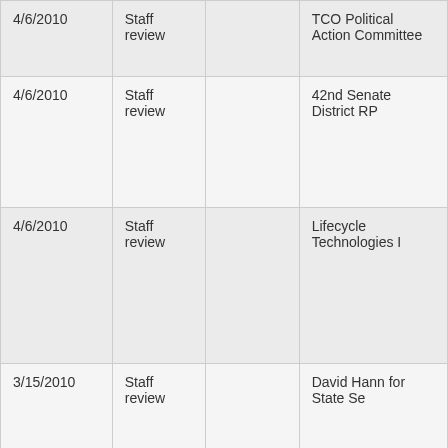| 4/6/2010 | Staff review |  | TCO Political Action Committee |
| 4/6/2010 | Staff review |  | 42nd Senate District RP... |
| 4/6/2010 | Staff review |  | Lifecycle Technologies I... |
| 3/15/2010 | Staff review |  | David Hann for State Se... |